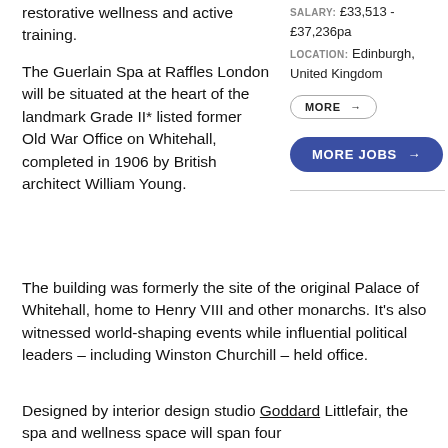restorative wellness and active training.
SALARY: £33,513 - £37,236pa
LOCATION: Edinburgh, United Kingdom
MORE →
MORE JOBS →
The Guerlain Spa at Raffles London will be situated at the heart of the landmark Grade II* listed former Old War Office on Whitehall, completed in 1906 by British architect William Young.
The building was formerly the site of the original Palace of Whitehall, home to Henry VIII and other monarchs. It's also witnessed world-shaping events while influential political leaders – including Winston Churchill – held office.
Designed by interior design studio Goddard Littlefair, the spa and wellness space will span four